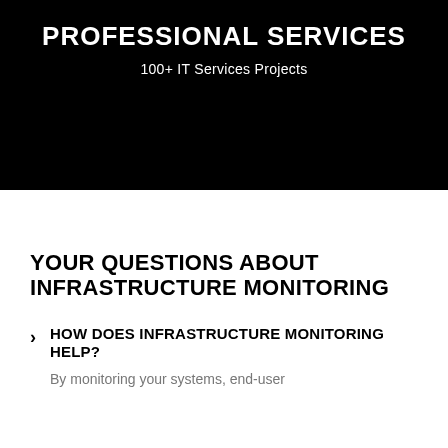PROFESSIONAL SERVICES
100+ IT Services Projects
YOUR QUESTIONS ABOUT INFRASTRUCTURE MONITORING
HOW DOES INFRASTRUCTURE MONITORING HELP?
By monitoring your systems, end-user